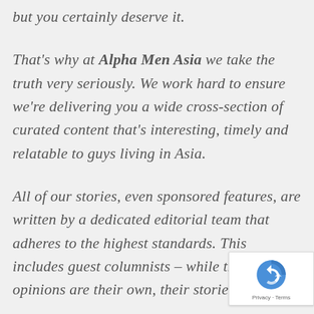but you certainly deserve it.
That's why at Alpha Men Asia we take the truth very seriously. We work hard to ensure we're delivering you a wide cross-section of curated content that's interesting, timely and relatable to guys living in Asia.
All of our stories, even sponsored features, are written by a dedicated editorial team that adheres to the highest standards. This includes guest columnists – while their opinions are their own, their stories